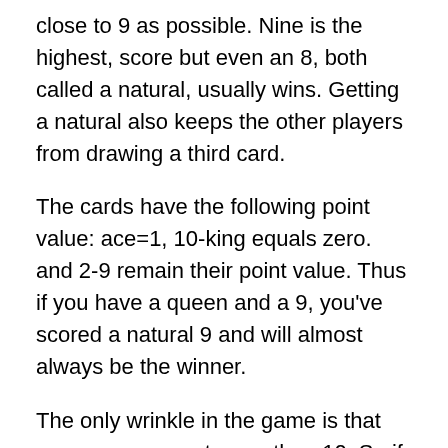close to 9 as possible. Nine is the highest, score but even an 8, both called a natural, usually wins. Getting a natural also keeps the other players from drawing a third card.
The cards have the following point value: ace=1, 10-king equals zero. and 2-9 remain their point value. Thus if you have a queen and a 9, you've scored a natural 9 and will almost always be the winner.
The only wrinkle in the game is that you can never get more than 10. So if you have a 9 and a 6, you will drop ten from point score leaving you with a 5.
Unless prevented from getting another card, you